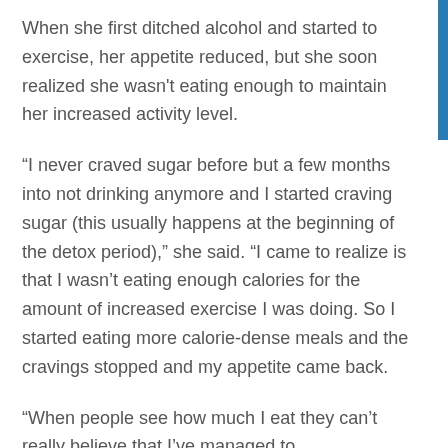When she first ditched alcohol and started to exercise, her appetite reduced, but she soon realized she wasn't eating enough to maintain her increased activity level.
“I never craved sugar before but a few months into not drinking anymore and I started craving sugar (this usually happens at the beginning of the detox period),” she said. “I came to realize is that I wasn’t eating enough calories for the amount of increased exercise I was doing. So I started eating more calorie-dense meals and the cravings stopped and my appetite came back.
“When people see how much I eat they can’t really believe that I’ve managed to